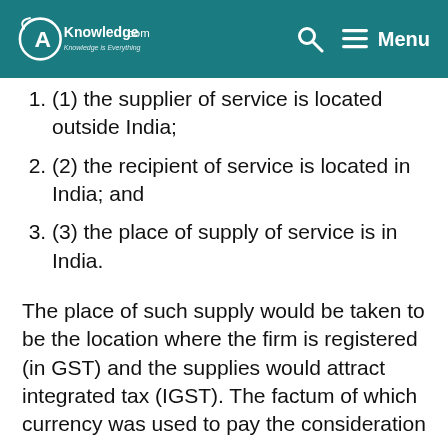CA Knowledge.com — Menu
(1) the supplier of service is located outside India;
(2) the recipient of service is located in India; and
(3) the place of supply of service is in India.
The place of such supply would be taken to be the location where the firm is registered (in GST) and the supplies would attract integrated tax (IGST). The factum of which currency was used to pay the consideration